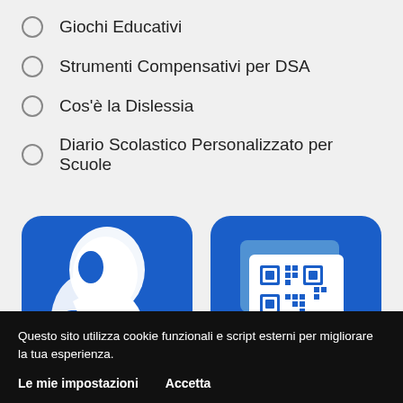Giochi Educativi
Strumenti Compensativi per DSA
Cos'è la Dislessia
Diario Scolastico Personalizzato per Scuole
[Figure (illustration): Two app icons on blue rounded-rectangle backgrounds: left shows a white silhouette of a person reading, right shows a white card with a QR code on a blue background.]
Questo sito utilizza cookie funzionali e script esterni per migliorare la tua esperienza.
Le mie impostazioni    Accetta